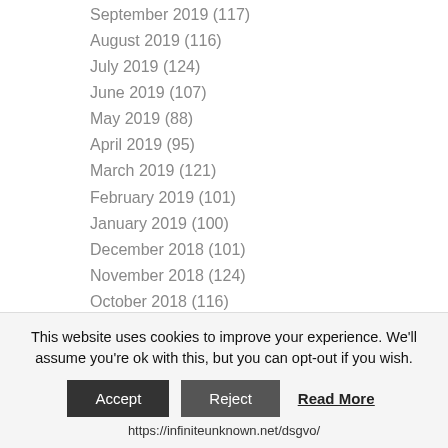September 2019 (117)
August 2019 (116)
July 2019 (124)
June 2019 (107)
May 2019 (88)
April 2019 (95)
March 2019 (121)
February 2019 (101)
January 2019 (100)
December 2018 (101)
November 2018 (124)
October 2018 (116)
September 2018 (104)
August 2018 (108)
July 2018 (110)
This website uses cookies to improve your experience. We'll assume you're ok with this, but you can opt-out if you wish.
https://infiniteunknown.net/dsgvo/